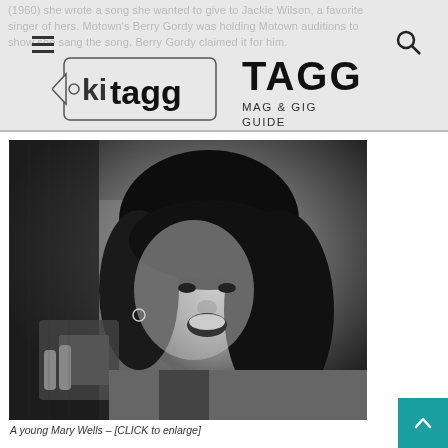(1960) she wrote a song she wanted to give to Jackie Wilson, a favorite singer of hers. Motown's Berry Gordy was holding Motown auditions to show she sang the song. Berry Gordy claimed it for him.
[Figure (logo): TAGG Mag & Gig Guide logo — tag-shaped icon with 'tagg' text alongside bold 'TAGG' and 'MAG & GIG GUIDE' text]
[Figure (photo): Black and white photograph of a young Mary Wells, smiling and holding something near her face, with voluminous dark hair and hoop earrings]
A young Mary Wells – [CLICK to enlarge]